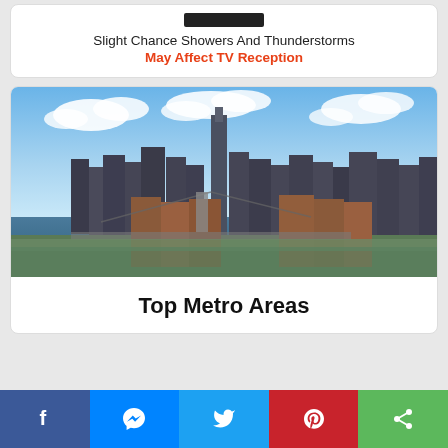Slight Chance Showers And Thunderstorms
May Affect TV Reception
[Figure (photo): Aerial photograph of New York City skyline showing Manhattan skyscrapers including One World Trade Center, the Brooklyn Bridge over the East River, with blue sky and clouds above]
Top Metro Areas
Social share bar with Facebook, Messenger, Twitter, Pinterest, and Share buttons